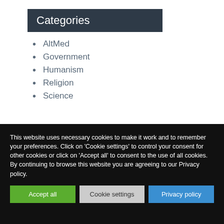Categories
AltMed
Government
Humanism
Religion
Science
This website uses necessary cookies to make it work and to remember your preferences. Click on 'Cookie settings' to control your consent for other cookies or click on 'Accept all' to consent to the use of all cookies. By continuing to browse this website you are agreeing to our Privacy policy.
Accept all | Cookie settings | Privacy policy